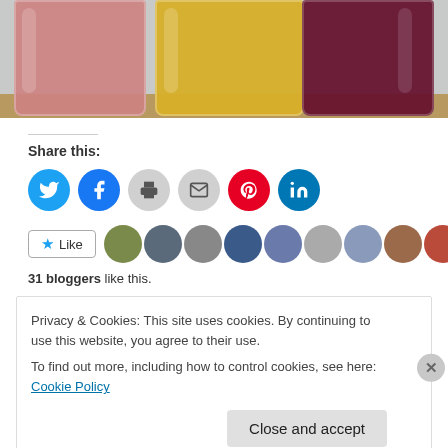[Figure (photo): Three tall glasses of smoothies side by side: pink/strawberry on left, yellow/mango in center, dark purple/berry on right, on a wooden surface with gray background.]
Share this:
[Figure (infographic): Social sharing icon buttons: Twitter (blue), Facebook (blue), Print (gray), Email (gray), Pinterest (red), LinkedIn (teal)]
[Figure (infographic): Like button with star icon and row of blogger avatar thumbnails. 31 bloggers like this.]
31 bloggers like this.
Privacy & Cookies: This site uses cookies. By continuing to use this website, you agree to their use.
To find out more, including how to control cookies, see here: Cookie Policy
Close and accept